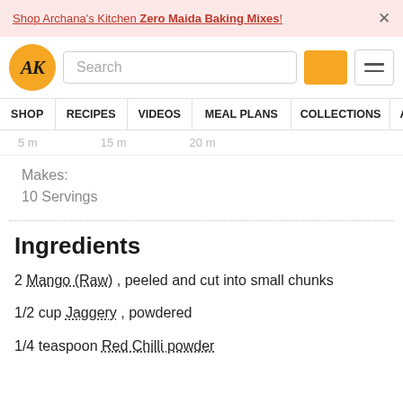Shop Archana's Kitchen Zero Maida Baking Mixes!
[Figure (logo): Archana's Kitchen AK logo orange circle]
Search
SHOP   RECIPES   VIDEOS   MEAL PLANS   COLLECTIONS   ART
Makes:
10 Servings
Ingredients
2 Mango (Raw) , peeled and cut into small chunks
1/2 cup Jaggery , powdered
1/4 teaspoon Red Chilli powder